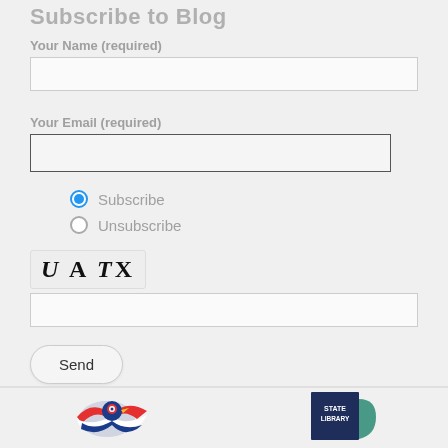Subscribe to Blog
Your Name (required)
[Figure (other): Text input field for name]
Your Email (required)
[Figure (other): Text input field for email]
Subscribe (radio button, selected)
Unsubscribe (radio button, unselected)
[Figure (other): CAPTCHA image showing text: UATX]
[Figure (other): CAPTCHA text input field]
Send
[Figure (logo): Ohio state logo - bird with red, white, blue design]
[Figure (logo): State Library logo - dark navy rectangle with STATE LIBRARY text and teal shape]